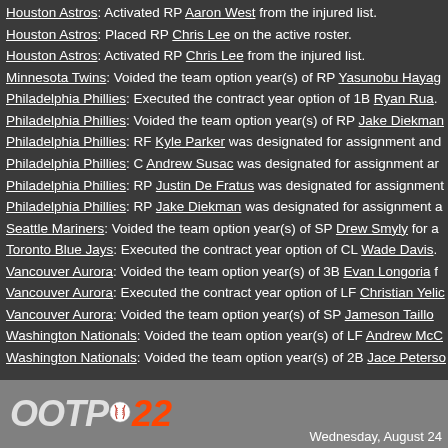Houston Astros: Activated RP Aaron West from the injured list.
Houston Astros: Placed RP Chris Lee on the active roster.
Houston Astros: Activated RP Chris Lee from the injured list.
Minnesota Twins: Voided the team option year(s) of RP Yasunobu Hayag…
Philadelphia Phillies: Executed the contract year option of 1B Ryan Rua.
Philadelphia Phillies: Voided the team option year(s) of RP Jake Diekman…
Philadelphia Phillies: RF Kyle Parker was designated for assignment and…
Philadelphia Phillies: C Andrew Susac was designated for assignment ar…
Philadelphia Phillies: RP Justin De Fratus was designated for assignment…
Philadelphia Phillies: RP Jake Diekman was designated for assignment a…
Seattle Mariners: Voided the team option year(s) of SP Drew Smyly for a…
Toronto Blue Jays: Executed the contract year option of CL Wade Davis.
Vancouver Aurora: Voided the team option year(s) of 3B Evan Longoria f…
Vancouver Aurora: Executed the contract year option of LF Christian Yelic…
Vancouver Aurora: Voided the team option year(s) of SP Jameson Taillon…
Washington Nationals: Voided the team option year(s) of LF Andrew McC…
Washington Nationals: Voided the team option year(s) of 2B Jace Peterso…
[Figure (logo): OOTP 22 logo with baseball icon]
Wednesday, August 24